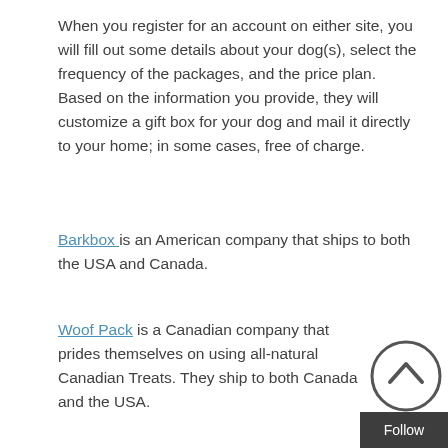When you register for an account on either site, you will fill out some details about your dog(s), select the frequency of the packages, and the price plan. Based on the information you provide, they will customize a gift box for your dog and mail it directly to your home; in some cases, free of charge.
Barkbox is an American company that ships to both the USA and Canada.
Woof Pack is a Canadian company that prides themselves on using all-natural Canadian Treats. They ship to both Canada and the USA.